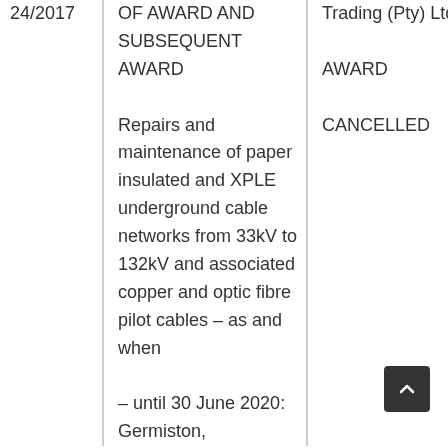| 24/2017 | OF AWARD AND SUBSEQUENT AWARD
Repairs and maintenance of paper insulated and XPLE underground cable networks from 33kV to 132kV and associated copper and optic fibre pilot cables – as and when – until 30 June 2020: Germiston, | Trading (Pty) Ltd
AWARD
CANCELLED |